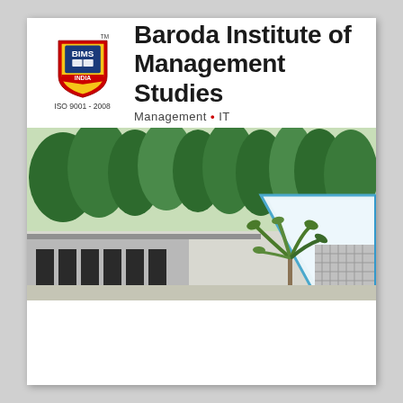[Figure (logo): BIMS shield logo with red, yellow, blue colors, INDIA banner, ISO 9001-2008 text below]
Baroda Institute of Management Studies
Management • IT
[Figure (photo): Campus building exterior with trees, glass canopy structure, modern architecture rendering]